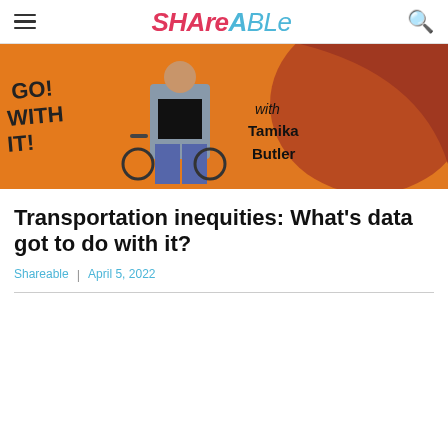Shareable
[Figure (illustration): Illustration of a person with a bicycle in front of orange and brown abstract background with text 'with Tamika Butler' and partial text 'Can't Breathe' on shirt]
Transportation inequities: What's data got to do with it?
Shareable | April 5, 2022